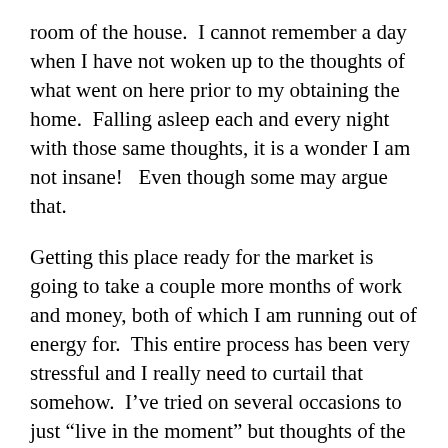room of the house.  I cannot remember a day when I have not woken up to the thoughts of what went on here prior to my obtaining the home.  Falling asleep each and every night  with those same thoughts, it is a wonder I am not insane!   Even though some may argue that.
Getting this place ready for the market is going to take a couple more months of work and money, both of which I am running out of energy for.  This entire process has been very stressful and I really need to curtail that somehow.  I’ve tried on several occasions to just “live in the moment” but thoughts of the upcoming weight I will have with trying to sell this place always creep in.  Then there are the days when I picture it sold and I become very excited at first because I will be free of those thoughts and memories of what was here before me.  Unfortunately, those pictures into the future also